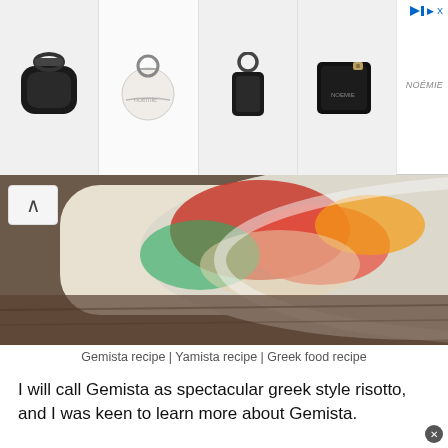[Figure (photo): Advertisement banner showing four leather accessories (AirPods case, round coin purse, keychain tag, card wallet) with brand name NOEMIE on right side]
[Figure (photo): Close-up photo of a plate of Gemista (Greek stuffed vegetables) with colorful filling, partially visible]
Gemista recipe | Yamista recipe | Greek food recipe
I will call Gemista as spectacular greek style risotto, and I was keen to learn more about Gemista.
People in Santorini are nice and helpful. Knowing my desire to learn authentic gemista recipe chefs from both restaurants gave me the recipe without any hesitation. Recipes by both chef, were similar.